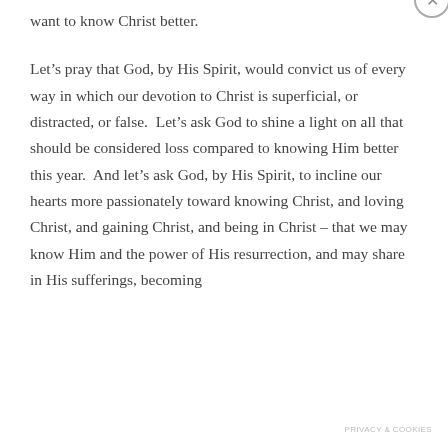want to know Christ better.
Let’s pray that God, by His Spirit, would convict us of every way in which our devotion to Christ is superficial, or distracted, or false.  Let’s ask God to shine a light on all that should be considered loss compared to knowing Him better this year.  And let’s ask God, by His Spirit, to incline our hearts more passionately toward knowing Christ, and loving Christ, and gaining Christ, and being in Christ – that we may know Him and the power of His resurrection, and may share in His sufferings, becoming
Privacy & Cookies: This site uses cookies. By continuing to use this website, you agree to their use.
To find out more, including how to control cookies, see here: Our Cookie Policy
Close and accept